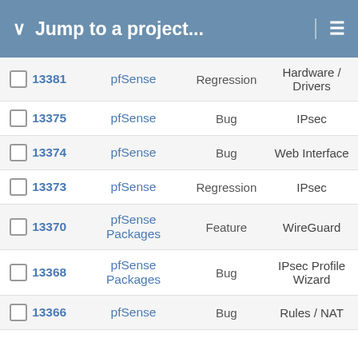Jump to a project...
|  | ID | Project | Tracker | Category |
| --- | --- | --- | --- | --- |
|  | 13381 | pfSense | Regression | Hardware / Drivers |
|  | 13375 | pfSense | Bug | IPsec |
|  | 13374 | pfSense | Bug | Web Interface |
|  | 13373 | pfSense | Regression | IPsec |
|  | 13370 | pfSense Packages | Feature | WireGuard |
|  | 13368 | pfSense Packages | Bug | IPsec Profile Wizard |
|  | 13366 | pfSense | Bug | Rules / NAT |